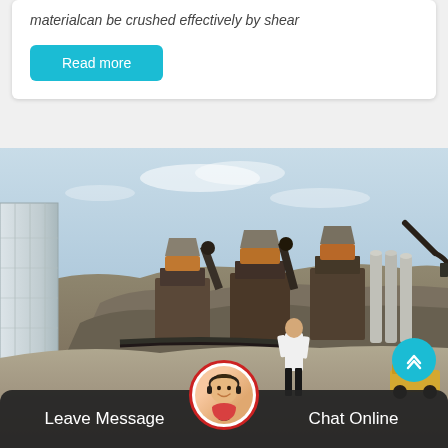materialcan be crushed effectively by shear
Read more
[Figure (photo): Outdoor quarry/mining site with crushing machinery, industrial equipment, large rock face, metal building structure on left, a person in white shirt standing and observing the site, hazy sky in background.]
Leave Message
Chat Online